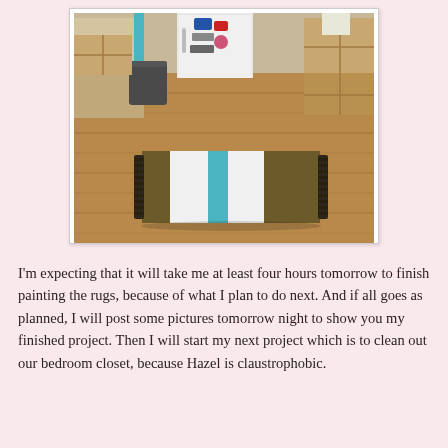[Figure (photo): Indoor kitchen scene with wooden floor, a striped rug (brown, white, and teal/blue stripes) in the foreground, a white refrigerator with stickers in the background, wooden crates and a blue trash can to the sides.]
I'm expecting that it will take me at least four hours tomorrow to finish painting the rugs, because of what I plan to do next. And if all goes as planned, I will post some pictures tomorrow night to show you my finished project. Then I will start my next project which is to clean out our bedroom closet, because Hazel is claustrophobic.